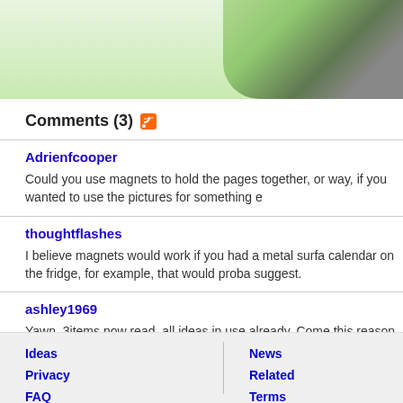[Figure (photo): Top portion of page showing a green/light colored partial image, cropped at top]
Comments (3)
Adrienfcooper
Could you use magnets to hold the pages together, or way, if you wanted to use the pictures for something e
thoughtflashes
I believe magnets would work if you had a metal surfa calendar on the fridge, for example, that would proba suggest.
ashley1969
Yawn, 3items now read, all ideas in use already. Come this reason for the past 30years!
Ideas  Privacy  FAQ  |  News  Related  Terms